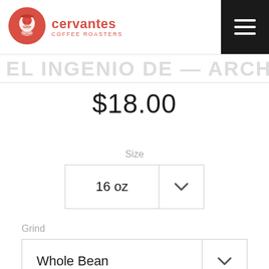[Figure (logo): Cervantes Coffee Roasters logo — red circular emblem with illustrated face and text]
$18.00
Size
16 oz
Grind
Whole Bean
Quantity